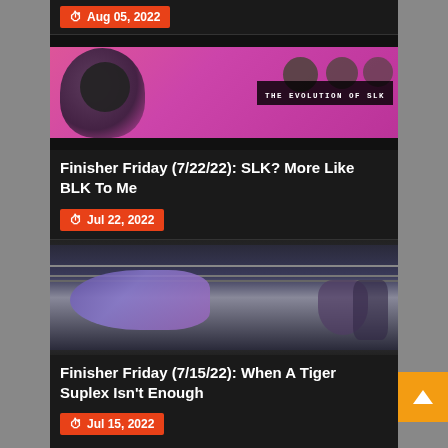Aug 05, 2022
[Figure (photo): Promotional image for 'The Evolution of SLK' featuring a female wrestler in a pink cat mask and purple sparkly outfit against a pink background with cat motifs. Text overlay reads 'THE EVOLUTION OF SLK'.]
Finisher Friday (7/22/22): SLK? More Like BLK To Me
Jul 22, 2022
[Figure (photo): Blurry action photo of a wrestling match showing a wrestler performing a move on another in a wrestling ring.]
Finisher Friday (7/15/22): When A Tiger Suplex Isn't Enough
Jul 15, 2022